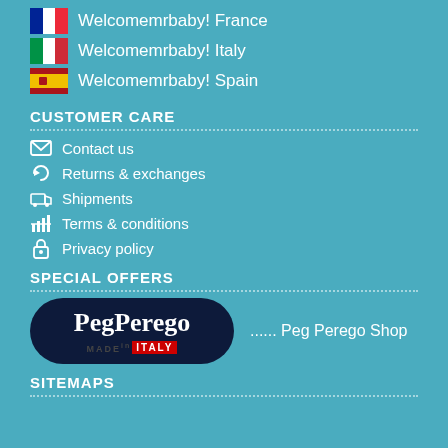Welcomemrbaby! France
Welcomemrbaby! Italy
Welcomemrbaby! Spain
CUSTOMER CARE
Contact us
Returns & exchanges
Shipments
Terms & conditions
Privacy policy
SPECIAL OFFERS
[Figure (logo): Peg Perego logo with 'MADE in ITALY' tagline and text '...... Peg Perego Shop']
SITEMAPS